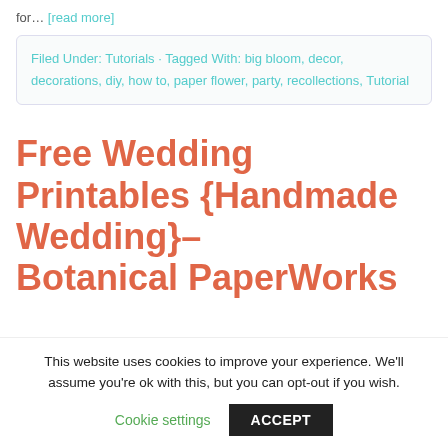for… [read more]
Filed Under: Tutorials · Tagged With: big bloom, decor, decorations, diy, how to, paper flower, party, recollections, Tutorial
Free Wedding Printables {Handmade Wedding}– Botanical PaperWorks
This website uses cookies to improve your experience. We'll assume you're ok with this, but you can opt-out if you wish.
Cookie settings   ACCEPT